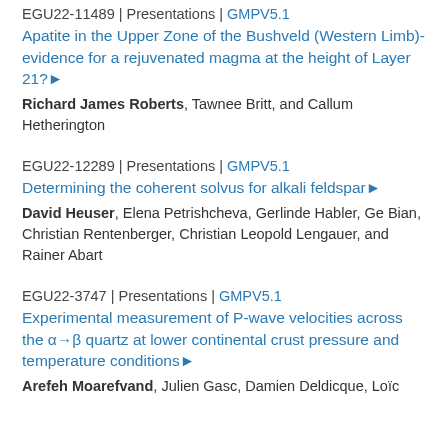EGU22-11489 | Presentations | GMPV5.1
Apatite in the Upper Zone of the Bushveld (Western Limb)- evidence for a rejuvenated magma at the height of Layer 21?▶
Richard James Roberts, Tawnee Britt, and Callum Hetherington
EGU22-12289 | Presentations | GMPV5.1
Determining the coherent solvus for alkali feldspar▶
David Heuser, Elena Petrishcheva, Gerlinde Habler, Ge Bian, Christian Rentenberger, Christian Leopold Lengauer, and Rainer Abart
EGU22-3747 | Presentations | GMPV5.1
Experimental measurement of P-wave velocities across the α→β quartz at lower continental crust pressure and temperature conditions▶
Arefeh Moarefvand, Julien Gasc, Damien Deldicque, Loïc